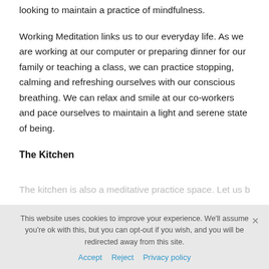looking to maintain a practice of mindfulness.
Working Meditation links us to our everyday life. As we are working at our computer or preparing dinner for our family or teaching a class, we can practice stopping, calming and refreshing ourselves with our conscious breathing. We can relax and smile at our co-workers and pace ourselves to maintain a light and serene state of being.
The Kitchen
The kitchen is also a meditative practice space. Let us be
This website uses cookies to improve your experience. We'll assume you're ok with this, but you can opt-out if you wish, and you will be redirected away from this site.
Accept   Reject   Privacy policy